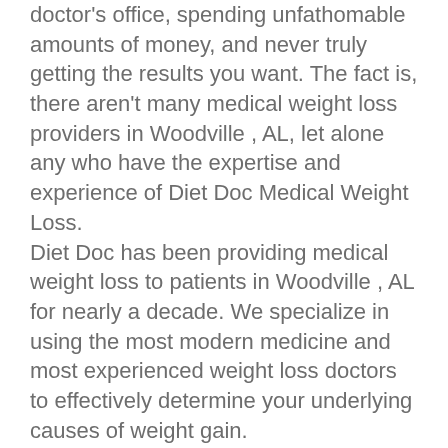doctor's office, spending unfathomable amounts of money, and never truly getting the results you want. The fact is, there aren't many medical weight loss providers in Woodville , AL, let alone any who have the expertise and experience of Diet Doc Medical Weight Loss. Diet Doc has been providing medical weight loss to patients in Woodville , AL for nearly a decade. We specialize in using the most modern medicine and most experienced weight loss doctors to effectively determine your underlying causes of weight gain.
Is your body sabotaging your efforts to lose weight?